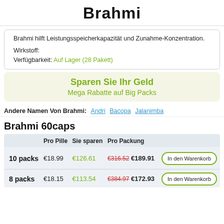Brahmi
Brahmi hilft Leistungsspeicherkapazität und Zunahme-Konzentration.

Wirkstoff:
Verfügbarkeit: Auf Lager (28 Pakett)
Sparen Sie Ihr Geld
Mega Rabatte auf Big Packs
Andere Namen Von Brahmi: Andri Bacopa Jalanimba
Brahmi 60caps
|  | Pro Pille | Sie sparen | Pro Packung |  |
| --- | --- | --- | --- | --- |
| 10 packs | €18.99 | €126.61 | €316.52 €189.91 | In den Warenkorb |
| 8 packs | €18.15 | €113.54 | €384.97 €172.93 | In den Warenkorb |